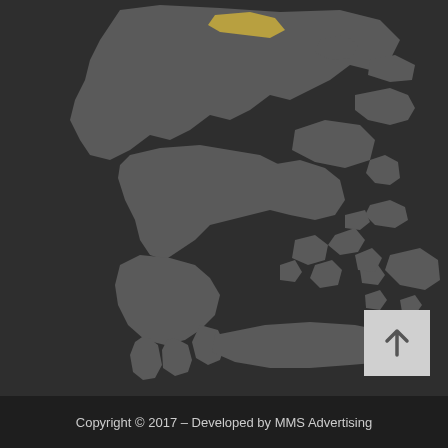[Figure (map): Dark-themed map showing Greece and surrounding Aegean sea region with gray landmasses on dark background. A small golden/olive-colored region is visible in the northern part of the map (possibly highlighting a specific area in northern Greece/Macedonia). The map shows the Greek peninsula, various islands in the Aegean Sea, and Crete at the bottom.]
Copyright © 2017 – Developed by MMS Advertising